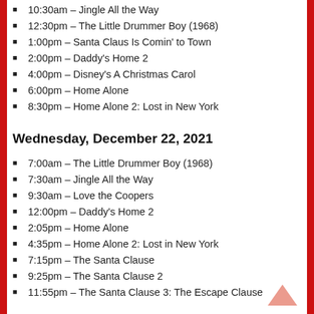10:30am – Jingle All the Way
12:30pm – The Little Drummer Boy (1968)
1:00pm – Santa Claus Is Comin' to Town
2:00pm – Daddy's Home 2
4:00pm – Disney's A Christmas Carol
6:00pm – Home Alone
8:30pm – Home Alone 2: Lost in New York
Wednesday, December 22, 2021
7:00am – The Little Drummer Boy (1968)
7:30am – Jingle All the Way
9:30am – Love the Coopers
12:00pm – Daddy's Home 2
2:05pm – Home Alone
4:35pm – Home Alone 2: Lost in New York
7:15pm – The Santa Clause
9:25pm – The Santa Clause 2
11:55pm – The Santa Clause 3: The Escape Clause